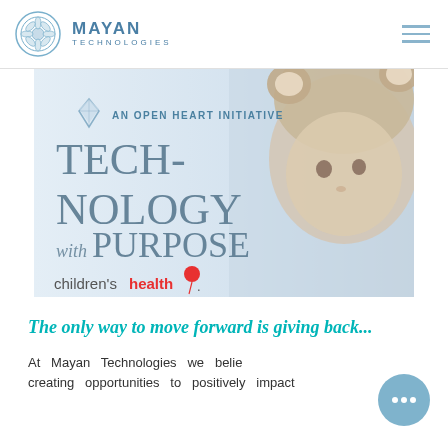[Figure (logo): Mayan Technologies logo with decorative circular emblem and text 'MAYAN TECHNOLOGIES']
[Figure (illustration): Promotional banner for 'Technology with Purpose - An Open Heart Initiative' featuring Children's Health logo and a child wearing a bear hood]
The only way to move forward is giving back...
At Mayan Technologies we believe creating opportunities to positively impact